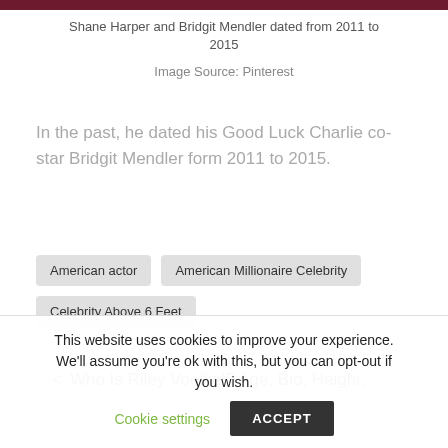[Figure (photo): Top portion of an image showing a dark maroon/burgundy background, partially cropped]
Shane Harper and Bridgit Mendler dated from 2011 to 2015
Image Source: Pinterest
In the past, he dated his Good Luck Charlie co-star Bridgit Mendler form 2011 to 2015.
American actor
American Millionaire Celebrity
Celebrity Above 6 Feet
< Who Is Riley Voelkel? Age, Bio, Height,
This website uses cookies to improve your experience. We'll assume you're ok with this, but you can opt-out if you wish. Cookie settings ACCEPT